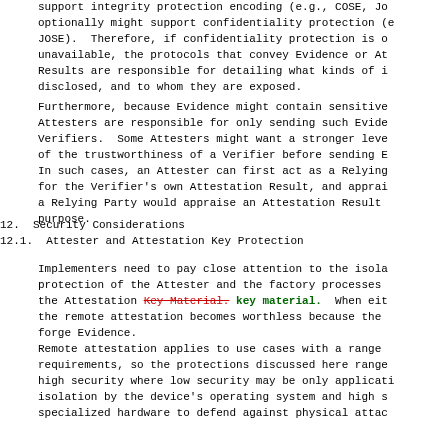support integrity protection encoding (e.g., COSE, Jo optionally might support confidentiality protection (e JOSE).  Therefore, if confidentiality protection is o unavailable, the protocols that convey Evidence or At Results are responsible for detailing what kinds of i disclosed, and to whom they are exposed.
Furthermore, because Evidence might contain sensitive Attesters are responsible for only sending such Evide Verifiers.  Some Attesters might want a stronger leve of the trustworthiness of a Verifier before sending E In such cases, an Attester can first act as a Relying for the Verifier's own Attestation Result, and apprai a Relying Party would appraise an Attestation Result purpose.
12.  Security Considerations
12.1.  Attester and Attestation Key Protection
Implementers need to pay close attention to the isola protection of the Attester and the factory processes the Attestation Key Material. key material.  When eit the remote attestation becomes worthless because the forge Evidence.
Remote attestation applies to use cases with a range requirements, so the protections discussed here range high security where low security may be only applicati isolation by the device's operating system and high s specialized hardware to defend against physical attac